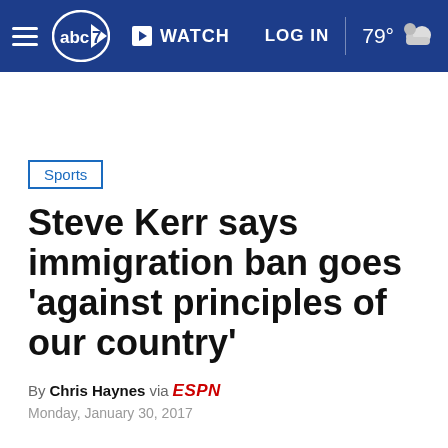abc7 WATCH LOG IN 79°
Sports
Steve Kerr says immigration ban goes 'against principles of our country'
By Chris Haynes via ESPN
Monday, January 30, 2017